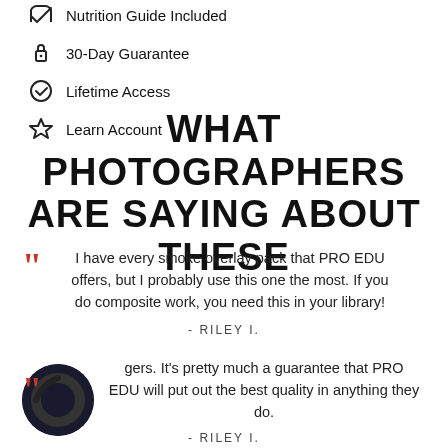Nutrition Guide Included
30-Day Guarantee
Lifetime Access
Learn Account
WHAT PHOTOGRAPHERS ARE SAYING ABOUT THESE
I have every smoke overlay pack that PRO EDU offers, but I probably use this one the most. If you do composite work, you need this in your library!
- RILEY I.
...gers. It's pretty much a guarantee that PRO EDU will put out the best quality in anything they do.
- RILEY I.